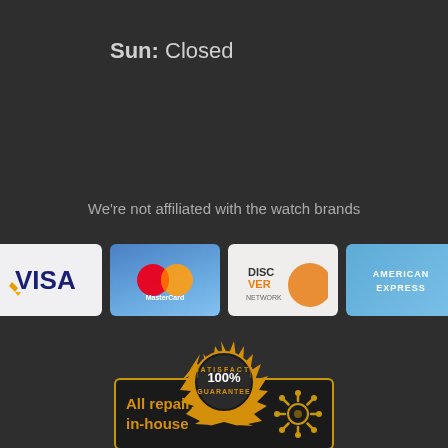Sun: Closed
We're not affiliated with the watch brands
[Figure (logo): Payment method logos: VISA, MasterCard, Discover Network, American Express]
[Figure (infographic): Badge reading: All repairs done in-house with gear icon]
[Figure (infographic): Satisfaction 100% Guarantee circular badge in gold]